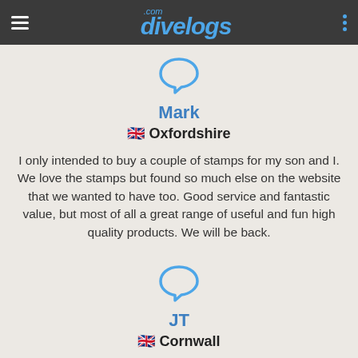divelogs.com
[Figure (illustration): Speech bubble icon in blue outline]
Mark
🇬🇧 Oxfordshire
I only intended to buy a couple of stamps for my son and I. We love the stamps but found so much else on the website that we wanted to have too. Good service and fantastic value, but most of all a great range of useful and fun high quality products. We will be back.
[Figure (illustration): Speech bubble icon in blue outline]
JT
🇬🇧 Cornwall
A great website which makes it easy to design your own product, secure payment process and an amazingly prompt dispatch time. When my stamp arrived I was